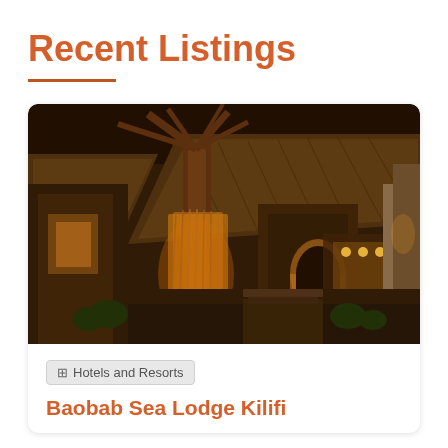Recent Listings
[Figure (photo): Nighttime exterior photo of Baobab Sea Lodge Kilifi showing thatched roof buildings, a large illuminated baobab tree, tropical plants, and warm ambient lighting.]
🏢 Hotels and Resorts
Baobab Sea Lodge Kilifi